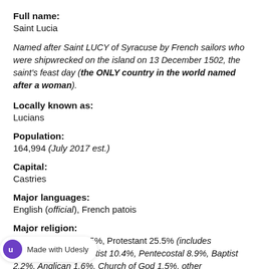Full name:
Saint Lucia
Named after Saint LUCY of Syracuse by French sailors who were shipwrecked on the island on 13 December 1502, the saint's feast day (the ONLY country in the world named after a woman).
Locally known as:
Lucians
Population:
164,994 (July 2017 est.)
Capital:
Castries
Major languages:
English (official), French patois
Major religion:
Roman Catholic 61.5%, Protestant 25.5% (includes Adventist 10.4%, Pentecostal 8.9%, Baptist 2.2%, Anglican 1.6%, Church of God 1.5%, other